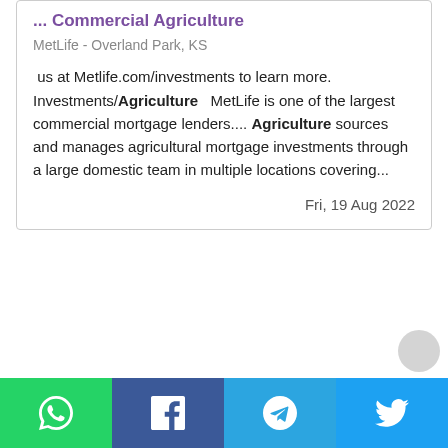... Commercial Agriculture
MetLife - Overland Park, KS
us at Metlife.com/investments to learn more. Investments/Agriculture   MetLife is one of the largest commercial mortgage lenders.... Agriculture sources and manages agricultural mortgage investments through a large domestic team in multiple locations covering...
Fri, 19 Aug 2022
[Figure (other): Social sharing bar with WhatsApp, Facebook, Telegram, and Twitter buttons]